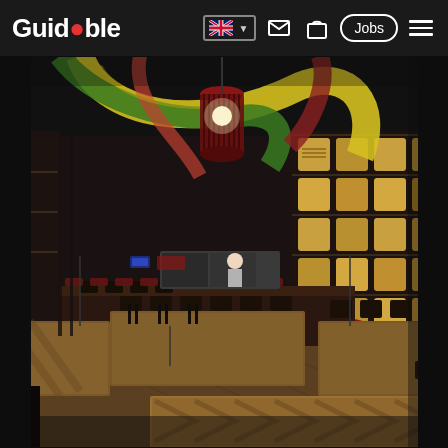Guidable — navigation bar with logo, UK flag language selector, mail icon, bag icon, Jobs button, hamburger menu
[Figure (photo): Interior of a Japanese-themed restaurant or izakaya with dark ambiance. Colorful fabric banners (yellow, green, red) draped from the ceiling. Red pendant lamps with slatted shades hang down. Walls lined with shelves displaying illuminated sake barrels. Wooden tables and dark metal chairs fill the dining floor. A kitchen counter visible in the background. The overall mood is moody and dramatic.]